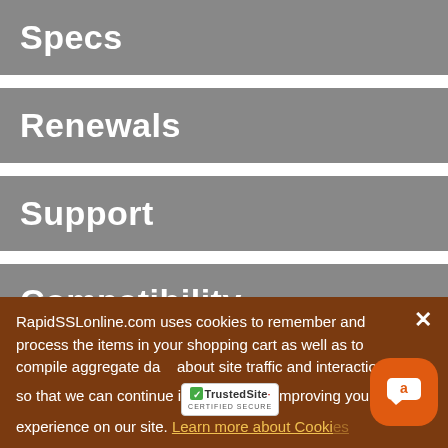Specs
Renewals
Support
Compatibility
OUR AWESOME CUSTOMERS
RapidSSLonline.com uses cookies to remember and process the items in your shopping cart as well as to compile aggregate data about site traffic and interactions so that we can continue improving your experience on our site. Learn more about Cookies